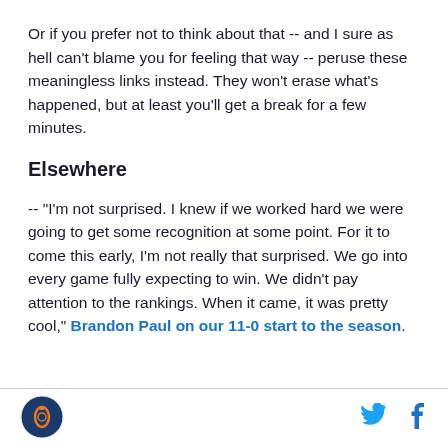Or if you prefer not to think about that -- and I sure as hell can't blame you for feeling that way -- peruse these meaningless links instead. They won't erase what's happened, but at least you'll get a break for a few minutes.
Elsewhere
-- "I'm not surprised. I knew if we worked hard we were going to get some recognition at some point. For it to come this early, I'm not really that surprised. We go into every game fully expecting to win. We didn't pay attention to the rankings. When it came, it was pretty cool," Brandon Paul on our 11-0 start to the season.
[Figure (logo): Sports team circular logo with orange and blue colors]